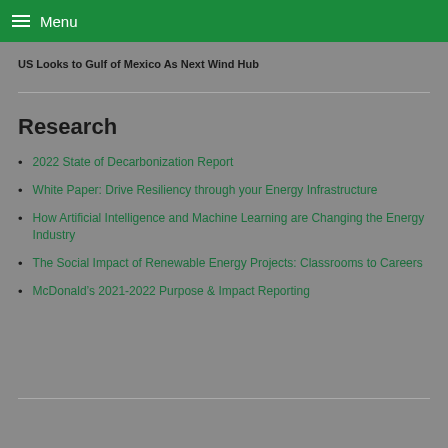Menu
US Looks to Gulf of Mexico As Next Wind Hub
Research
2022 State of Decarbonization Report
White Paper: Drive Resiliency through your Energy Infrastructure
How Artificial Intelligence and Machine Learning are Changing the Energy Industry
The Social Impact of Renewable Energy Projects: Classrooms to Careers
McDonald’s 2021-2022 Purpose & Impact Reporting